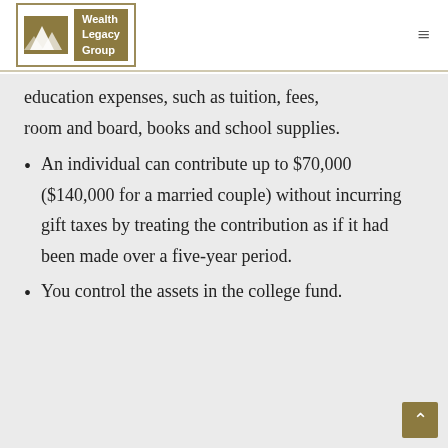Wealth Legacy Group
education expenses, such as tuition, fees, room and board, books and school supplies.
An individual can contribute up to $70,000 ($140,000 for a married couple) without incurring gift taxes by treating the contribution as if it had been made over a five-year period.
You control the assets in the college fund.
You may transfer funds to another...